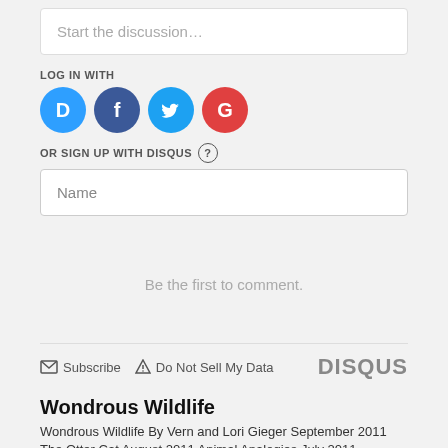Start the discussion…
LOG IN WITH
[Figure (infographic): Four social login icons: Disqus (blue circle with D), Facebook (dark blue circle with f), Twitter (light blue circle with bird), Google (red circle with G)]
OR SIGN UP WITH DISQUS ?
Name
Be the first to comment.
Subscribe   Do Not Sell My Data   DISQUS
Wondrous Wildlife
Wondrous Wildlife By Vern and Lori Gieger September 2011 The Otter Cat August 2011 Animal Analogies July 2011 Toadzilla June